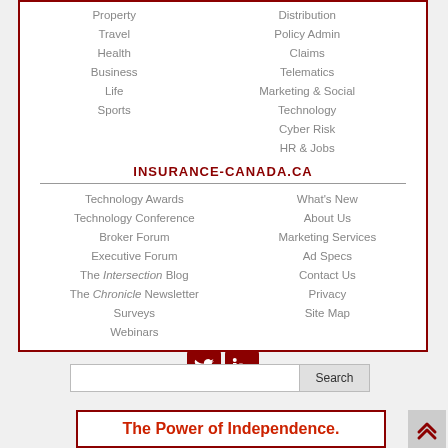Property
Travel
Health
Business
Life
Sports
Distribution
Policy Admin
Claims
Telematics
Marketing & Social
Technology
Cyber Risk
HR & Jobs
INSURANCE-CANADA.CA
Technology Awards
Technology Conference
Broker Forum
Executive Forum
The Intersection Blog
The Chronicle Newsletter
Surveys
Webinars
What's New
About Us
Marketing Services
Ad Specs
Contact Us
Privacy
Site Map
[Figure (other): Social media icons: Twitter and LinkedIn in dark red rounded squares]
[Figure (other): Search bar with Search button]
The Power of Independence.
[Figure (other): Scroll to top button with double chevron up arrow]